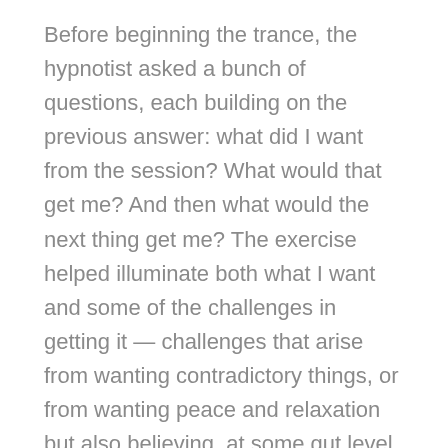Before beginning the trance, the hypnotist asked a bunch of questions, each building on the previous answer: what did I want from the session? What would that get me? And then what would the next thing get me? The exercise helped illuminate both what I want and some of the challenges in getting it — challenges that arise from wanting contradictory things, or from wanting peace and relaxation but also believing, at some gut level, that I don't really deserve it. After all, there's always work to do, and how am I gonna do it if I let myself relax?
Then, after guiding me into profound physical relaxation, Joann used my own words to help me imagine achieving my goals. I had told her I wanted to find balance since, in my view, life is all about finding balance between this and that, work and rest,